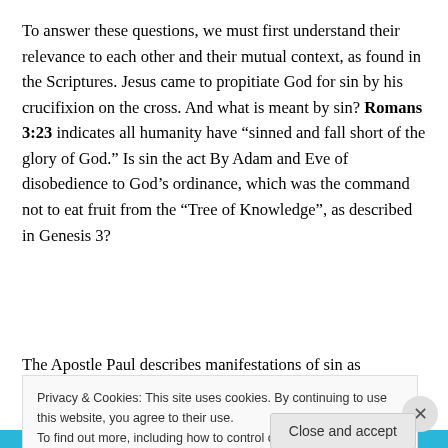To answer these questions, we must first understand their relevance to each other and their mutual context, as found in the Scriptures. Jesus came to propitiate God for sin by his crucifixion on the cross. And what is meant by sin? Romans 3:23 indicates all humanity have “sinned and fall short of the glory of God.” Is sin the act By Adam and Eve of disobedience to God’s ordinance, which was the command not to eat fruit from the “Tree of Knowledge”, as described in Genesis 3?
The Apostle Paul describes manifestations of sin as
Privacy & Cookies: This site uses cookies. By continuing to use this website, you agree to their use.
To find out more, including how to control cookies, see here: Cookie Policy